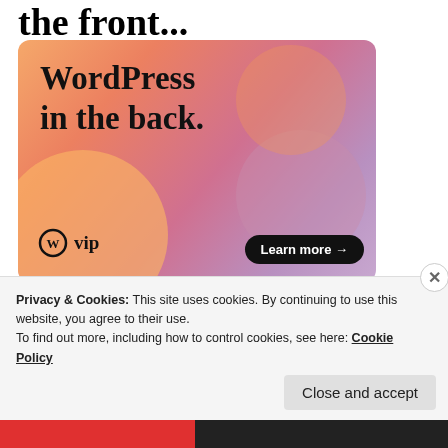the front...
[Figure (illustration): WordPress VIP advertisement banner with colorful gradient background (orange, pink, purple blobs). Text reads 'WordPress in the back.' with WordPress VIP logo and 'Learn more →' button.]
REPORT THIS AD
Share this:
Twitter
Facebook
[Figure (other): Like button row with star icon and multiple user avatar images]
Privacy & Cookies: This site uses cookies. By continuing to use this website, you agree to their use.
To find out more, including how to control cookies, see here: Cookie Policy
Close and accept